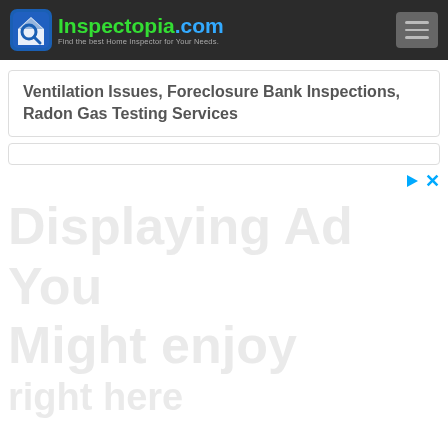Inspectopia.com — Find the best Home Inspector for Your Needs.
Ventilation Issues, Foreclosure Bank Inspections, Radon Gas Testing Services
[Figure (other): Advertisement banner with large faded background text, play and close controls in top right corner]